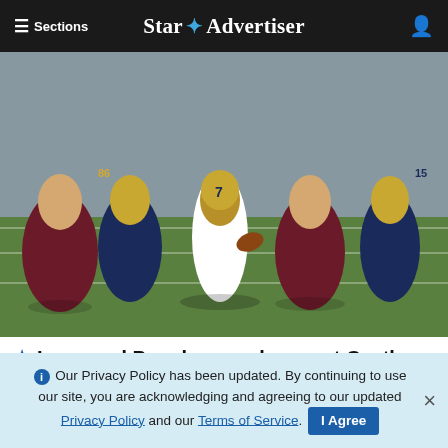≡ Sections  Star ✦ Advertiser
[Figure (photo): Football game action photo: a player in white jersey number 7 and navy/gold uniform running with the ball, surrounded by players in dark maroon/burgundy uniforms and players in navy/gold uniforms on a green field]
★ Improved Punahou pushes past Castle
[Figure (photo): Partial view of a second football-related photo, mostly cropped, showing bleachers and a field]
ℹ Our Privacy Policy has been updated. By continuing to use our site, you are acknowledging and agreeing to our updated Privacy Policy and our Terms of Service. I Agree